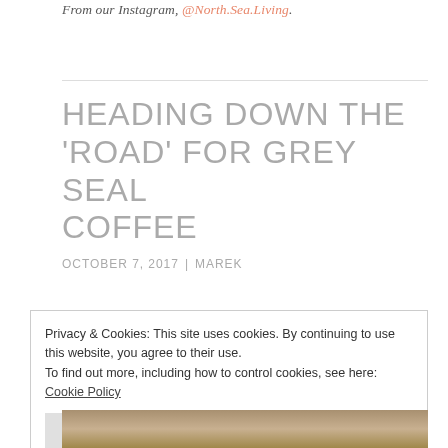From our Instagram, @North.Sea.Living.
HEADING DOWN THE 'ROAD' FOR GREY SEAL COFFEE
OCTOBER 7, 2017  |  MAREK
Privacy & Cookies: This site uses cookies. By continuing to use this website, you agree to their use.
To find out more, including how to control cookies, see here: Cookie Policy
Close and accept
[Figure (photo): Bottom strip showing a narrow rural path or road through green landscape]